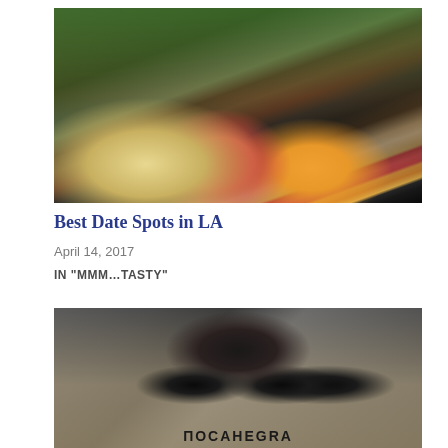[Figure (photo): Outdoor sushi restaurant patio with plates of sushi rolls and sashimi on dark tables, lush greenery and wooden railing in background]
Best Date Spots in LA
April 14, 2017
IN "MMM…TASTY"
[Figure (photo): Six dark beer bottles in a wooden crate on weathered gray wood surface, with text ПОСAHEGRA visible at bottom]